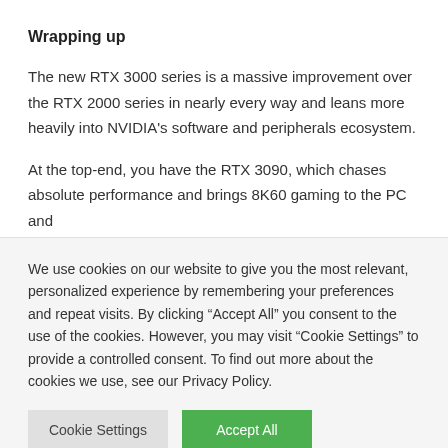Wrapping up
The new RTX 3000 series is a massive improvement over the RTX 2000 series in nearly every way and leans more heavily into NVIDIA’s software and peripherals ecosystem.
At the top-end, you have the RTX 3090, which chases absolute performance and brings 8K60 gaming to the PC and
We use cookies on our website to give you the most relevant, personalized experience by remembering your preferences and repeat visits. By clicking “Accept All” you consent to the use of the cookies. However, you may visit “Cookie Settings” to provide a controlled consent. To find out more about the cookies we use, see our Privacy Policy.